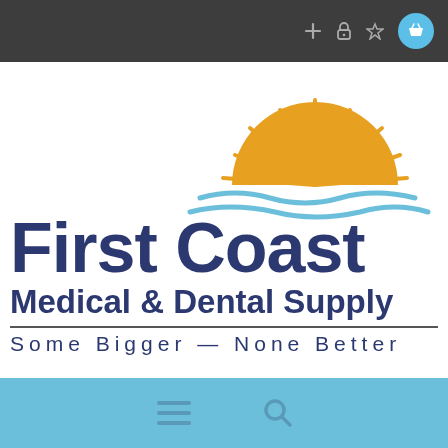[Figure (screenshot): Browser top bar with dark background showing plus, lock, star, and basket icons on the right]
[Figure (logo): First Coast Medical & Dental Supply logo with a sun rising over stylized water waves in orange and light blue colors, above the company name in dark navy blue text]
First Coast
Medical & Dental Supply
Some Bigger — None Better
[Figure (screenshot): Light blue navigation bar at the bottom with hamburger menu icon and search icon]